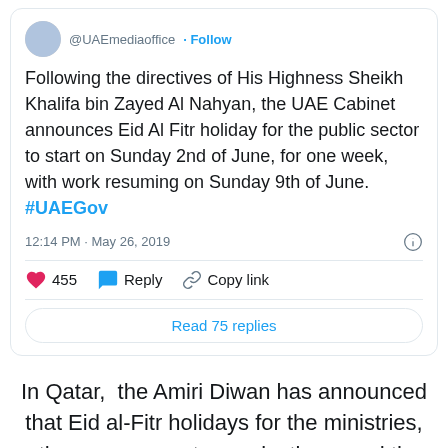[Figure (screenshot): Twitter/X post from @UAEmediaoffice with Follow button]
Following the directives of His Highness Sheikh Khalifa bin Zayed Al Nahyan, the UAE Cabinet announces Eid Al Fitr holiday for the public sector to start on Sunday 2nd of June, for one week, with work resuming on Sunday 9th of June. #UAEGov
12:14 PM · May 26, 2019
455  Reply  Copy link
Read 75 replies
In Qatar, the Amiri Diwan has announced that Eid al-Fitr holidays for the ministries, other government organizations, and the general authorities and institutions will start on Sunday, June 2 and on Monday, June 10. State employees will resume work on Tuesday, June 11.